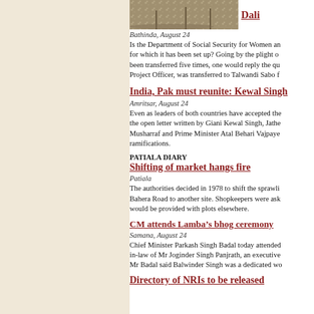[Figure (photo): Newspaper photo of a crowd/ground scene, partially visible]
Dali
Bathinda, August 24
Is the Department of Social Security for Women and for which it has been set up? Going by the plight o been transferred five times, one would reply the qu Project Officer, was transferred to Talwandi Sabo f
India, Pak must reunite: Kewal Singh
Amritsar, August 24
Even as leaders of both countries have accepted the the open letter written by Giani Kewal Singh, Jathe Musharraf and Prime Minister Atal Behari Vajpaye ramifications.
PATIALA DIARY
Shifting of market hangs fire
Patiala
The authorities decided in 1978 to shift the sprawli Bahera Road to another site. Shopkeepers were ask would be provided with plots elsewhere.
CM attends Lamba’s bhog ceremony
Samana, August 24
Chief Minister Parkash Singh Badal today attended in-law of Mr Joginder Singh Panjrath, an executive Mr Badal said Balwinder Singh was a dedicated wo
Directory of NRIs to be released